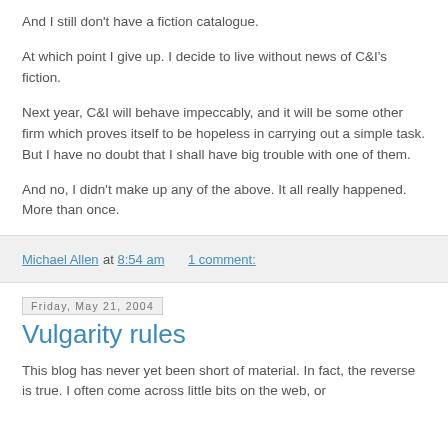And I still don't have a fiction catalogue.
At which point I give up. I decide to live without news of C&I's fiction.
Next year, C&I will behave impeccably, and it will be some other firm which proves itself to be hopeless in carrying out a simple task. But I have no doubt that I shall have big trouble with one of them.
And no, I didn't make up any of the above. It all really happened. More than once.
Michael Allen at 8:54 am   1 comment:
Friday, May 21, 2004
Vulgarity rules
This blog has never yet been short of material. In fact, the reverse is true. I often come across little bits on the web, or